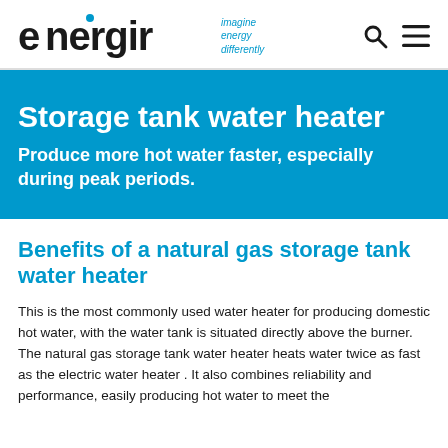energir imagine energy differently
Storage tank water heater
Produce more hot water faster, especially during peak periods.
Benefits of a natural gas storage tank water heater
This is the most commonly used water heater for producing domestic hot water, with the water tank is situated directly above the burner. The natural gas storage tank water heater heats water twice as fast as the electric water heater . It also combines reliability and performance, easily producing hot water to meet the